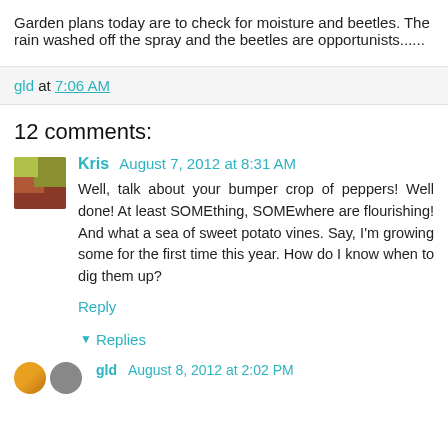Garden plans today are to check for moisture and beetles. The rain washed off the spray and the beetles are opportunists......
gld at 7:06 AM
12 comments:
Kris August 7, 2012 at 8:31 AM
Well, talk about your bumper crop of peppers! Well done! At least SOMEthing, SOMEwhere are flourishing! And what a sea of sweet potato vines. Say, I'm growing some for the first time this year. How do I know when to dig them up?
Reply
Replies
gld   August 8, 2012 at 2:02 PM